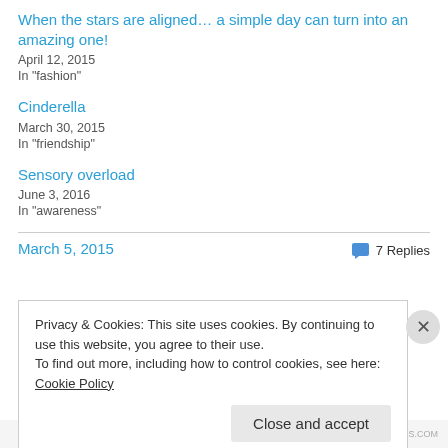When the stars are aligned… a simple day can turn into an amazing one!
April 12, 2015
In "fashion"
Cinderella
March 30, 2015
In "friendship"
Sensory overload
June 3, 2016
In "awareness"
March 5, 2015
7 Replies
Privacy & Cookies: This site uses cookies. By continuing to use this website, you agree to their use.
To find out more, including how to control cookies, see here: Cookie Policy
Close and accept